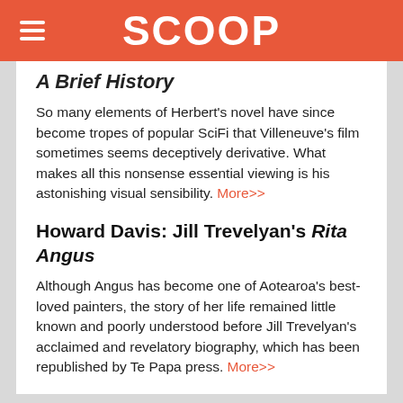SCOOP
A Brief History
So many elements of Herbert's novel have since become tropes of popular SciFi that Villeneuve's film sometimes seems deceptively derivative. What makes all this nonsense essential viewing is his astonishing visual sensibility. More>>
Howard Davis: Jill Trevelyan's Rita Angus
Although Angus has become one of Aotearoa's best-loved painters, the story of her life remained little known and poorly understood before Jill Trevelyan's acclaimed and revelatory biography, which has been republished by Te Papa press. More>>